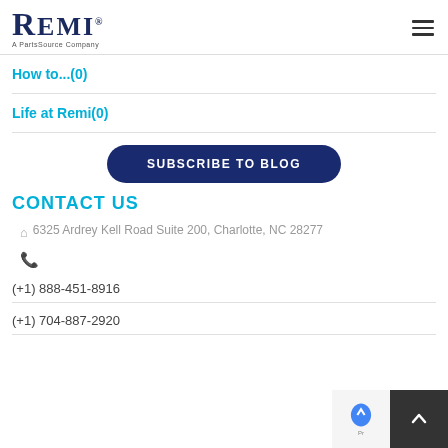[Figure (logo): REMI logo - A PartsSource Company, dark navy serif font]
How to...(0)
Life at Remi(0)
SUBSCRIBE TO BLOG
CONTACT US
6325 Ardrey Kell Road Suite 200, Charlotte, NC 28277
(+1) 888-451-8916
(+1) 704-887-2920